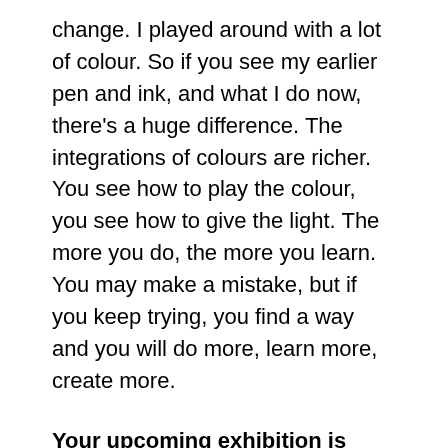change. I played around with a lot of colour. So if you see my earlier pen and ink, and what I do now, there's a huge difference. The integrations of colours are richer. You see how to play the colour, you see how to give the light. The more you do, the more you learn. You may make a mistake, but if you keep trying, you find a way and you will do more, learn more, create more.
Your upcoming exhibition is your first solo show in Hong Kong. What are your expectations and hopes from the audience there? Do you think they will relate to your work?
I've never been to Hong Kong, but for a few years